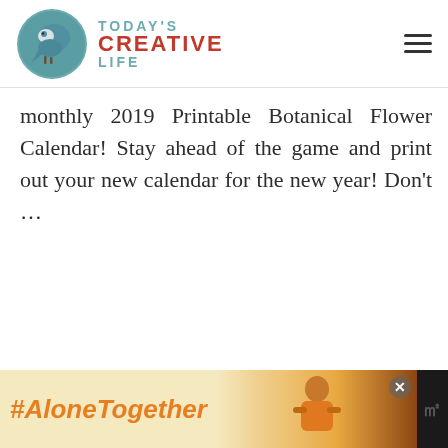[Figure (logo): Today's Creative Life logo with teal circle bird icon and text: TODAY'S CREATIVE LIFE]
monthly 2019 Printable Botanical Flower Calendar! Stay ahead of the game and print out your new calendar for the new year! Don't ...
READ THE POST
[Figure (photo): Photo of a tablet and clipboard with printable calendar]
[Figure (infographic): Advertisement banner: #AloneTogether with woman photo and W logo]